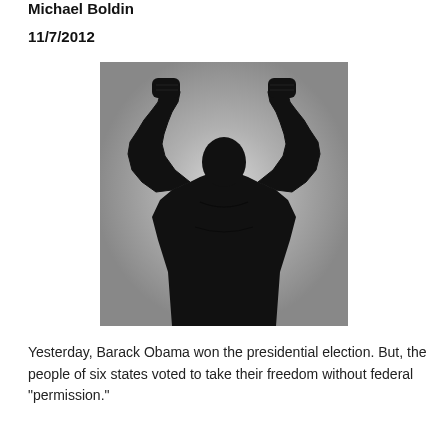Michael Boldin
11/7/2012
[Figure (photo): Black and white silhouette photograph of a person viewed from behind with both arms raised and fists clenched in a victory pose, against a light grey background.]
Yesterday, Barack Obama won the presidential election. But, the people of six states voted to take their freedom without federal “permission.”